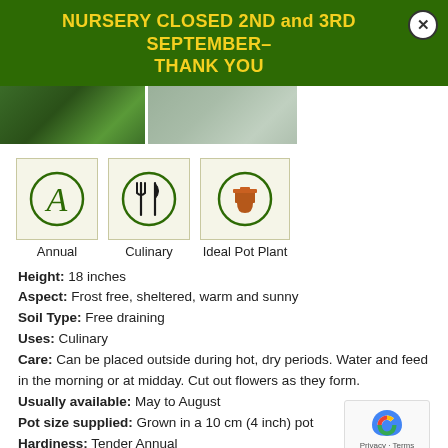NURSERY CLOSED 2ND and 3RD SEPTEMBER– THANK YOU
[Figure (photo): Two plant photos side by side — green basil leaves and grey-green leaves]
[Figure (infographic): Three icons: Annual (letter A in circle), Culinary (fork and knife in circle), Ideal Pot Plant (terracotta pot in circle), with labels beneath each]
Height: 18 inches
Aspect: Frost free, sheltered, warm and sunny
Soil Type: Free draining
Uses: Culinary
Care: Can be placed outside during hot, dry periods. Water and feed in the morning or at midday. Cut out flowers as they form.
Usually available: May to August
Pot size supplied: Grown in a 10 cm (4 inch) pot
Hardiness: Tender Annual